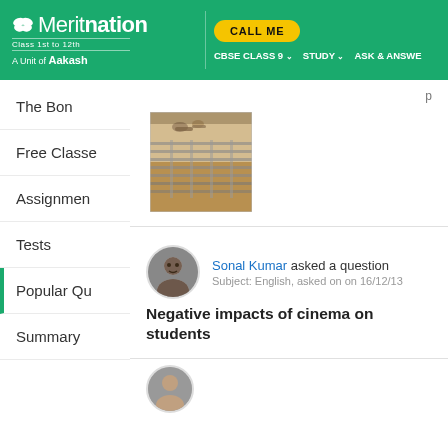Meritnation — Class 1st to 12th, A Unit of Aakash | CALL ME | CBSE CLASS 9 | STUDY | ASK & ANSWER
The Bond
Free Classes
Assignments
Tests
Popular Qu
Summary
[Figure (photo): A small photograph showing keys or tools resting on a metal grid/rack surface]
Sonal Kumar asked a question Subject: English, asked on on 16/12/13 Negative impacts of cinema on students